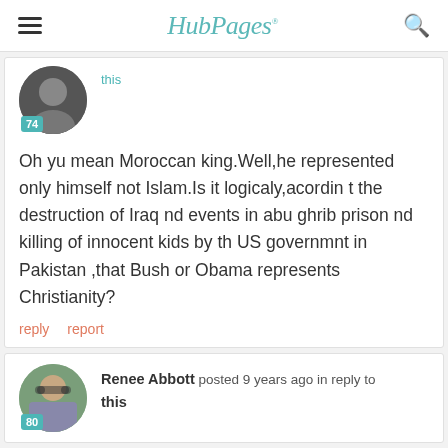HubPages
this
Oh yu mean Moroccan king.Well,he represented only himself not Islam.Is it logicaly,acordin t the destruction of Iraq nd events in abu ghrib prison nd killing of innocent kids by th US governmnt in Pakistan ,that Bush or Obama represents Christianity?
reply   report
Renee Abbott posted 9 years ago in reply to this